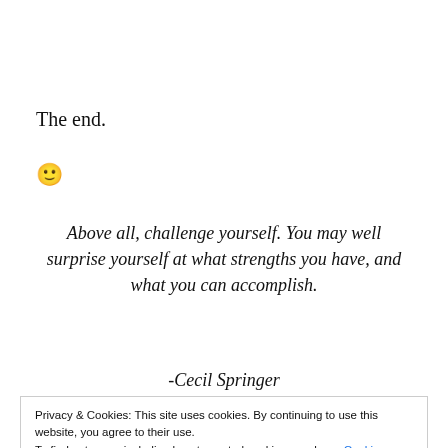The end.
🙂
Above all, challenge yourself. You may well surprise yourself at what strengths you have, and what you can accomplish.
-Cecil Springer
Privacy & Cookies: This site uses cookies. By continuing to use this website, you agree to their use.
To find out more, including how to control cookies, see here: Cookie Policy
the same page is easy.